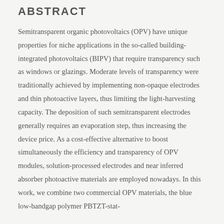ABSTRACT
Semitransparent organic photovoltaics (OPV) have unique properties for niche applications in the so-called building-integrated photovoltaics (BIPV) that require transparency such as windows or glazings. Moderate levels of transparency were traditionally achieved by implementing non-opaque electrodes and thin photoactive layers, thus limiting the light-harvesting capacity. The deposition of such semitransparent electrodes generally requires an evaporation step, thus increasing the device price. As a cost-effective alternative to boost simultaneously the efficiency and transparency of OPV modules, solution-processed electrodes and near inferred absorber photoactive materials are employed nowadays. In this work, we combine two commercial OPV materials, the blue low-bandgap polymer PBTZT-stat-